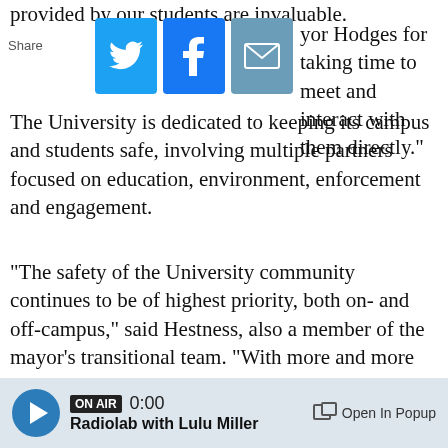provided by our students are invaluable.
[Figure (screenshot): Share bar with Twitter (blue bird), Facebook (blue f), and email (envelope) icons]
yor Hodges for taking time to meet and interact with them directly."
The University is dedicated to keeping its campus and students safe, involving multiple partners focused on education, environment, enforcement and engagement.
"The safety of the University community continues to be of highest priority, both on- and off-campus," said Hestness, also a member of the mayor's transitional team. "With more and more private student housing coming online, neighborhoods surrounding campus are evolving and becoming more densely populated. With many students
[Figure (screenshot): Audio player bar showing ON AIR badge, 0:00 time, Radiolab with Lulu Miller, and Open In Popup button]